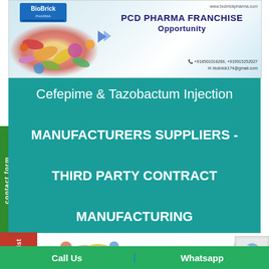[Figure (illustration): BioBrick Pharma banner with logo, colorful pills/capsules image on left, PCD Pharma Franchise Opportunity heading, website and contact details]
Cefepime & Tazobactum Injection MANUFACTURERS SUPPLIERS - THIRD PARTY CONTRACT MANUFACTURING
contact form
ct List
Call Us
Whatsapp